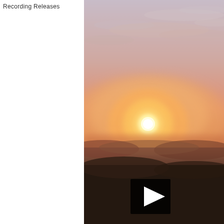Recording Releases
[Figure (photo): A sunrise or sunset landscape photograph showing the sun near the horizon with orange and pink hues in a misty or foggy atmosphere. A video play button (black square with white triangle) is overlaid in the lower portion of the image.]